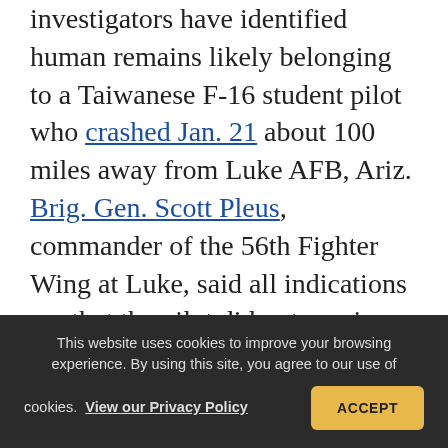investigators have identified human remains likely belonging to a Taiwanese F-16 student pilot who crashed Jan. 21 about 100 miles away from Luke AFB, Ariz. Brig. Gen. Scott Pleus, commander of the 56th Fighter Wing at Luke, said all indications are that the pilot did not survive the crash, which occurred around 8:45 a.m. local time. The cause of the crash is not known, but the 56th Fighter Wing, which trains US and international pilots on the F-16, has convened an interim safety board to investigate. The initial report of the crash
This website uses cookies to improve your browsing experience. By using this site, you agree to our use of cookies. View our Privacy Policy   ACCEPT